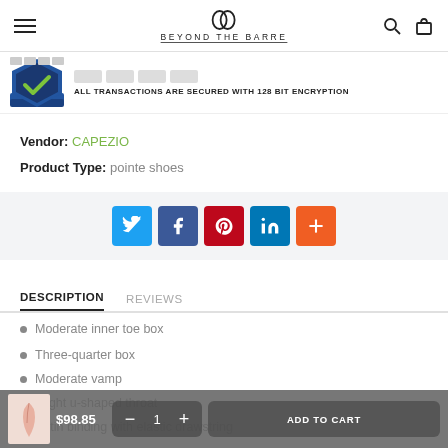Beyond The Barre
[Figure (logo): Beyond The Barre website header with hamburger menu, logo, search and bag icons]
ALL TRANSACTIONS ARE SECURED WITH 128 BIT ENCRYPTION
Vendor: CAPEZIO
Product Type: pointe shoes
[Figure (infographic): Social share buttons: Twitter, Facebook, Pinterest, LinkedIn, More]
DESCRIPTION
REVIEWS
Moderate inner toe box
Three-quarter box
Moderate vamp
Slight u-shaped throat
Satin binding with elastic drawstring
$98.85  1  ADD TO CART